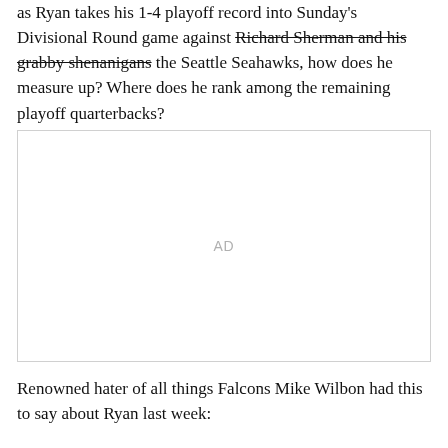as Ryan takes his 1-4 playoff record into Sunday's Divisional Round game against Richard Sherman and his grabby shenanigans the Seattle Seahawks, how does he measure up? Where does he rank among the remaining playoff quarterbacks?
[Figure (other): Advertisement placeholder box with 'AD' label centered]
Renowned hater of all things Falcons Mike Wilbon had this to say about Ryan last week: